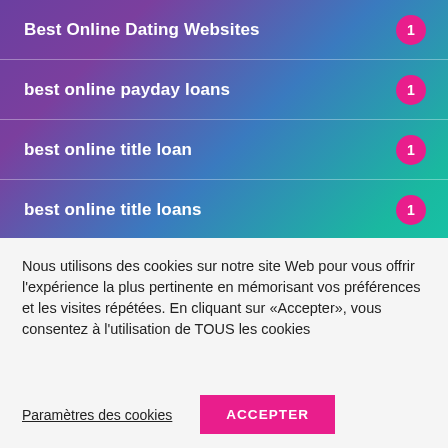Best Online Dating Websites — 1
best online payday loans — 1
best online title loan — 1
best online title loans — 1
best payday loan — 1
Nous utilisons des cookies sur notre site Web pour vous offrir l'expérience la plus pertinente en mémorisant vos préférences et les visites répétées. En cliquant sur «Accepter», vous consentez à l'utilisation de TOUS les cookies
Paramètres des cookies
ACCEPTER